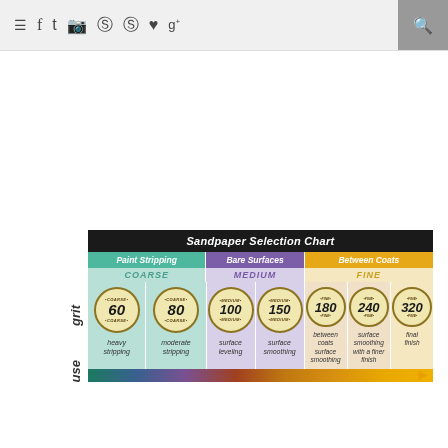≡ f t ☖ ⊕ ⊕ ♥ g+ 🔍
[Figure (table-as-image): Sandpaper Selection Chart showing grit types (60, 80, 100, 150, 180, 240, 320) categorized by Paint Stripping (Coarse), Bare Surfaces (Medium), and Between Coats (Fine) with use descriptions and a gradient bar at the bottom]